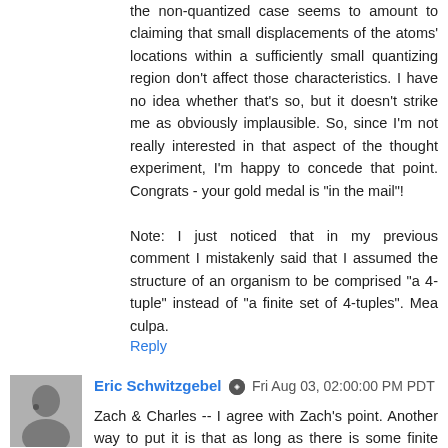the non-quantized case seems to amount to claiming that small displacements of the atoms' locations within a sufficiently small quantizing region don't affect those characteristics. I have no idea whether that's so, but it doesn't strike me as obviously implausible. So, since I'm not really interested in that aspect of the thought experiment, I'm happy to concede that point. Congrats - your gold medal is "in the mail"!
Note: I just noticed that in my previous comment I mistakenly said that I assumed the structure of an organism to be comprised "a 4-tuple" instead of "a finite set of 4-tuples". Mea culpa.
Reply
Eric Schwitzgebel  Fri Aug 03, 02:00:00 PM PDT
Zach & Charles -- I agree with Zach's point. Another way to put it is that as long as there is some finite (although potentially very small) error region that is irrelevant to the Eric-Schwitzgeblianness of the brain, the point about the